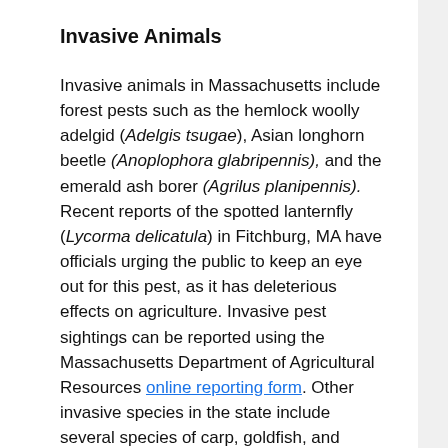Invasive Animals
Invasive animals in Massachusetts include forest pests such as the hemlock woolly adelgid (Adelgis tsugae), Asian longhorn beetle (Anoplophora glabripennis), and the emerald ash borer (Agrilus planipennis). Recent reports of the spotted lanternfly (Lycorma delicatula) in Fitchburg, MA have officials urging the public to keep an eye out for this pest, as it has deleterious effects on agriculture. Invasive pest sightings can be reported using the Massachusetts Department of Agricultural Resources online reporting form. Other invasive species in the state include several species of carp, goldfish, and snakeheads. It is estimated that each year invasive species incur $120 billion in damages.
I have a pet that I no longer want to keep. Can I release it outdoors?
Please do not release any unwanted pets into the environment if you no longer wish to keep them. Many of the...